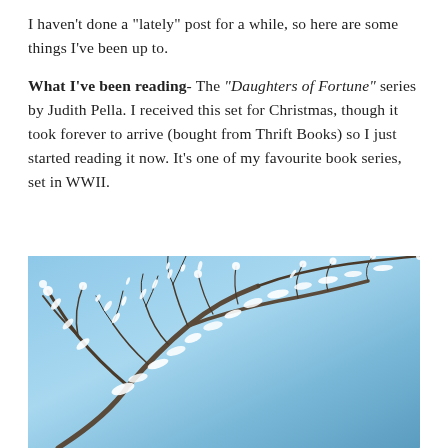I haven't done a "lately" post for a while, so here are some things I've been up to.
What I've been reading- The "Daughters of Fortune" series by Judith Pella. I received this set for Christmas, though it took forever to arrive (bought from Thrift Books) so I just started reading it now. It's one of my favourite book series, set in WWII.
[Figure (photo): Winter photo of ice-covered tree branches against a bright blue sky]